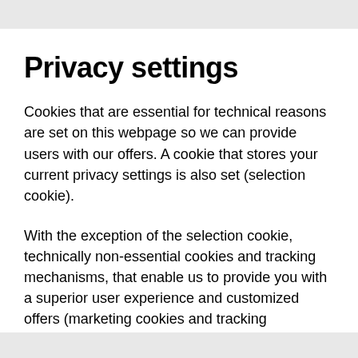Privacy settings
Cookies that are essential for technical reasons are set on this webpage so we can provide users with our offers. A cookie that stores your current privacy settings is also set (selection cookie).
With the exception of the selection cookie, technically non-essential cookies and tracking mechanisms, that enable us to provide you with a superior user experience and customized offers (marketing cookies and tracking